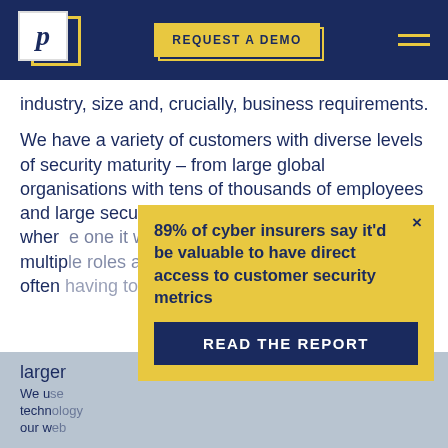REQUEST A DEMO
industry, size and, crucially, business requirements.
We have a variety of customers with diverse levels of security maturity – from large global organisations with tens of thousands of employees and large security teams to smaller organisations where... multiple... often larger...
We use... technology... our w...
SPMs... questions are answered
[Figure (screenshot): Popup modal with yellow background showing text: 89% of cyber insurers say it'd be valuable to have direct access to customer security metrics, with a blue READ THE REPORT button]